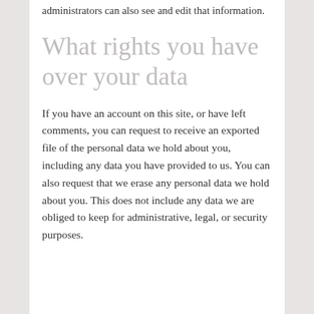administrators can also see and edit that information.
What rights you have over your data
If you have an account on this site, or have left comments, you can request to receive an exported file of the personal data we hold about you, including any data you have provided to us. You can also request that we erase any personal data we hold about you. This does not include any data we are obliged to keep for administrative, legal, or security purposes.